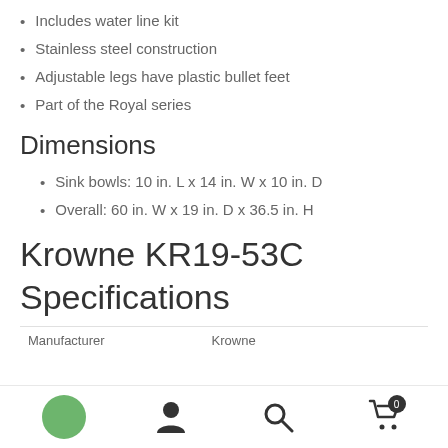Includes water line kit
Stainless steel construction
Adjustable legs have plastic bullet feet
Part of the Royal series
Dimensions
Sink bowls: 10 in. L x 14 in. W x 10 in. D
Overall: 60 in. W x 19 in. D x 36.5 in. H
Krowne KR19-53C Specifications
| Manufacturer | Krowne |
| --- | --- |